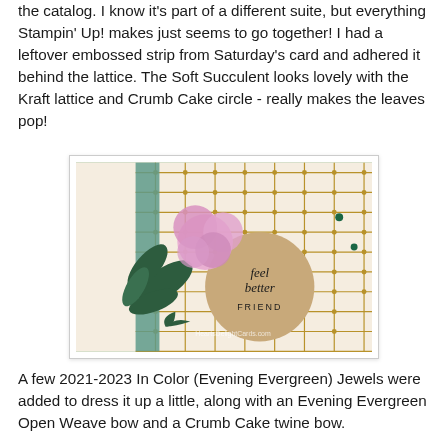the catalog. I know it's part of a different suite, but everything Stampin' Up! makes just seems to go together! I had a leftover embossed strip from Saturday's card and adhered it behind the lattice. The Soft Succulent looks lovely with the Kraft lattice and Crumb Cake circle - really makes the leaves pop!
[Figure (photo): Handmade greeting card featuring a kraft/gold lattice background with a teal vertical strip, a round kraft-colored circle with 'feel better FRIEND' script text, pink flowers (Soft Succulent stamp set), dark green leaves, and a dark green open weave bow with twine.]
A few 2021-2023 In Color (Evening Evergreen) Jewels were added to dress it up a little, along with an Evening Evergreen Open Weave bow and a Crumb Cake twine bow.